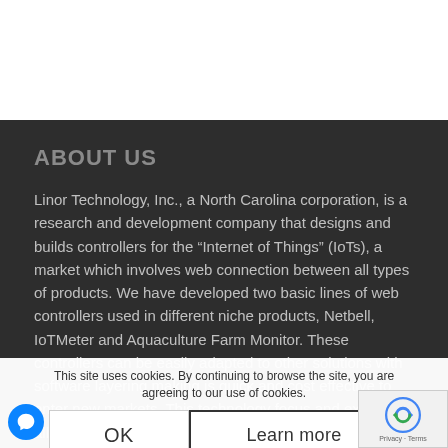ABOUT US
Linor Technology, Inc., a North Carolina corporation, is a research and development company that designs and builds controllers for the “Internet of Things” (IoTs), a market which involves web connection between all types of products. We have developed two basic lines of web controllers used in different niche products, Netbell, IoTMeter and Aquaculture Farm Monitor. These controllers can be easily adapted to other solutions with software layering making is quick and cost effective to enter new markets. This technology focus and expertise allows us to take full advantage of the new generation industrial manufacturing and educational as well as the Aquaculture vertical business with needs for control, monitoring and alert over the
This site uses cookies. By continuing to browse the site, you are agreeing to our use of cookies.